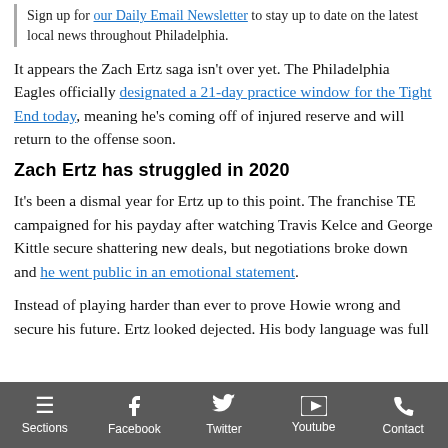Sign up for our Daily Email Newsletter to stay up to date on the latest local news throughout Philadelphia.
It appears the Zach Ertz saga isn't over yet. The Philadelphia Eagles officially designated a 21-day practice window for the Tight End today, meaning he's coming off of injured reserve and will return to the offense soon.
Zach Ertz has struggled in 2020
It's been a dismal year for Ertz up to this point. The franchise TE campaigned for his payday after watching Travis Kelce and George Kittle secure shattering new deals, but negotiations broke down and he went public in an emotional statement.
Instead of playing harder than ever to prove Howie wrong and secure his future. Ertz looked dejected. His body language was full
Sections | Facebook | Twitter | Youtube | Contact